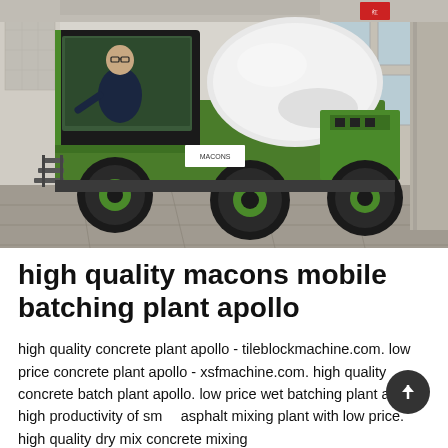[Figure (photo): A green concrete mixer truck (self-loading mobile concrete mixer) parked indoors, with a man in a dark suit sitting in the open cab. The truck has large black and green wheels and a white cylindrical mixing drum. The background shows an indoor exhibition or factory space with large windows and pillars.]
high quality macons mobile batching plant apollo
high quality concrete plant apollo - tileblockmachine.com. low price concrete plant apollo - xsfmachine.com. high quality concrete batch plant apollo. low price wet batching plant apollo. high productivity of small asphalt mixing plant with low price. high quality dry mix concrete mixing